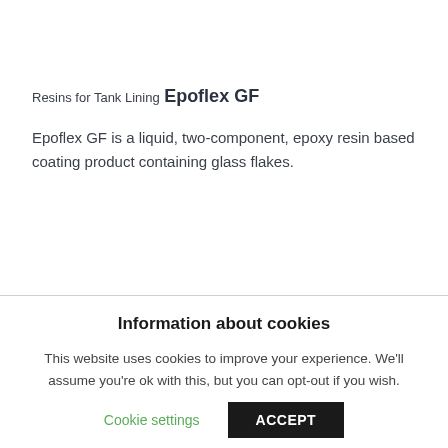Resins for Tank Lining
Epoflex GF
Epoflex GF is a liquid, two-component, epoxy resin based coating product containing glass flakes.
Information about cookies
This website uses cookies to improve your experience. We'll assume you're ok with this, but you can opt-out if you wish.
Cookie settings
ACCEPT